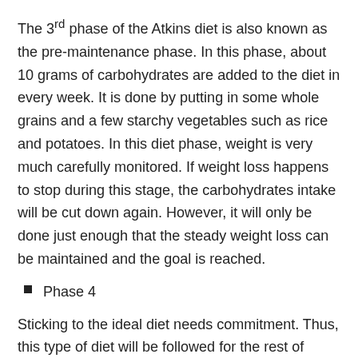The 3rd phase of the Atkins diet is also known as the pre-maintenance phase. In this phase, about 10 grams of carbohydrates are added to the diet in every week. It is done by putting in some whole grains and a few starchy vegetables such as rice and potatoes. In this diet phase, weight is very much carefully monitored. If weight loss happens to stop during this stage, the carbohydrates intake will be cut down again. However, it will only be done just enough that the steady weight loss can be maintained and the goal is reached.
Phase 4
Sticking to the ideal diet needs commitment. Thus, this type of diet will be followed for the rest of one's life. The carb intake for a person following the Atkins diet will be limited to about 45 grams to 100 grams every day.
What Is the Ketogenic Diet?